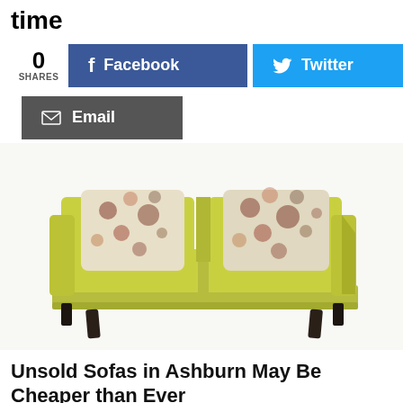time
0 SHARES
[Figure (screenshot): Social share buttons: Facebook (blue) and Twitter (cyan) buttons side by side, and Email (dark grey) button below]
[Figure (photo): Yellow-green modern sofa with floral throw pillows on white background]
Unsold Sofas in Ashburn May Be Cheaper than Ever
Sofas | Search Ads | Sponsored
[Figure (photo): Partial image of colorful building facade visible at bottom of page]